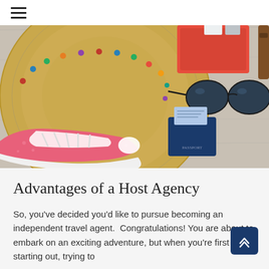[Figure (photo): Overhead flat-lay photo of travel items on a light wooden surface: straw hat with colorful bead necklace, pink sneakers with white laces, dark sunglasses, blue passport with boarding pass, red wallet/notebook, and other travel accessories.]
Advantages of a Host Agency
So, you've decided you'd like to pursue becoming an independent travel agent.  Congratulations! You are about to embark on an exciting adventure, but when you're first starting out, trying to